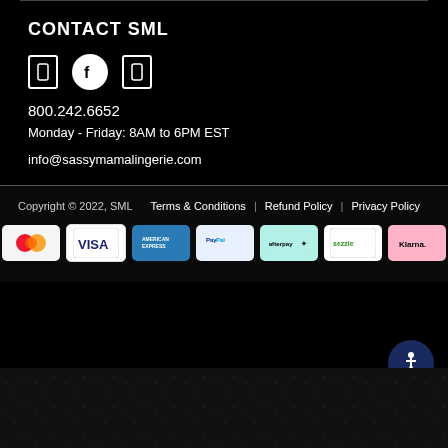CONTACT SML
[Figure (illustration): Social media icons: phone/message icon box, Facebook circle icon, Instagram icon box]
800.242.6652
Monday - Friday: 8AM to 6PM EST
info@sassymamalingerie.com
Copyright © 2022, SML   Terms & Conditions | Refund Policy | Privacy Policy
[Figure (illustration): Payment method logos: Mastercard, Visa, American Express, PayPal, Afterpay, Sezzle, Klarna]
[Figure (illustration): Accessibility button with wheelchair icon]